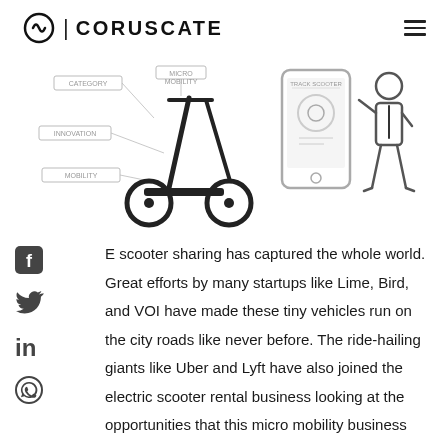CORUSCATE
[Figure (illustration): Hero image showing an electric scooter with technical diagram annotations, a smartphone with scooter app, and a cartoon business person figure]
[Figure (illustration): Social media icons: Facebook, Twitter, LinkedIn, WhatsApp arranged vertically]
E scooter sharing has captured the whole world. Great efforts by many startups like Lime, Bird, and VOI have made these tiny vehicles run on the city roads like never before. The ride-hailing giants like Uber and Lyft have also joined the electric scooter rental business looking at the opportunities that this micro mobility business